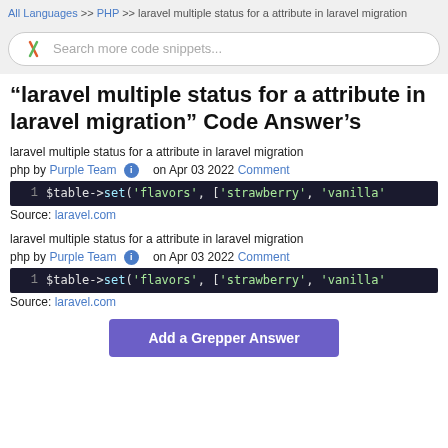All Languages >> PHP >> laravel multiple status for a attribute in laravel migration
[Figure (screenshot): Search bar with Grepper logo and placeholder text 'Search more code snippets...']
“laravel multiple status for a attribute in laravel migration” Code Answer’s
laravel multiple status for a attribute in laravel migration
php by Purple Team on Apr 03 2022 Comment
[Figure (screenshot): Code block: 1  $table->set('flavors', ['strawberry', 'vanilla'...]
Source: laravel.com
laravel multiple status for a attribute in laravel migration
php by Purple Team on Apr 03 2022 Comment
[Figure (screenshot): Code block: 1  $table->set('flavors', ['strawberry', 'vanilla'...]
Source: laravel.com
Add a Grepper Answer